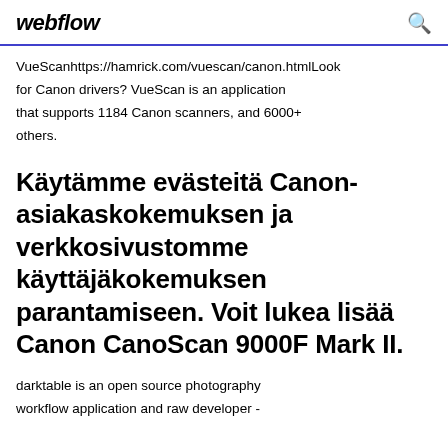webflow
VueScanhttps://hamrick.com/vuescan/canon.htmlLook for Canon drivers? VueScan is an application that supports 1184 Canon scanners, and 6000+ others.
Käytämme evästeitä Canon-asiakaskokemuksen ja verkkosivustomme käyttäjäkokemuksen parantamiseen. Voit lukea lisää Canon CanoScan 9000F Mark II.
darktable is an open source photography workflow application and raw developer -